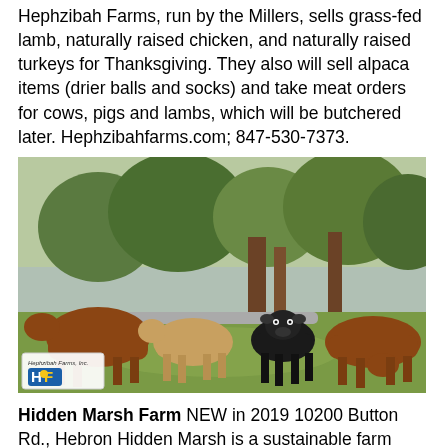Hephzibah Farms, run by the Millers, sells grass-fed lamb, naturally raised chicken, and naturally raised turkeys for Thanksgiving. They also will sell alpaca items (drier balls and socks) and take meat orders for cows, pigs and lambs, which will be butchered later. Hephzibahfarms.com; 847-530-7373.
[Figure (photo): Photo of four cows (two brown/reddish, one tan, one black) grazing in a green field with trees and water in background. Hephzibah Farms logo visible in lower left corner.]
Hidden Marsh Farm NEW in 2019 10200 Button Rd., Hebron Hidden Marsh is a sustainable farm raising